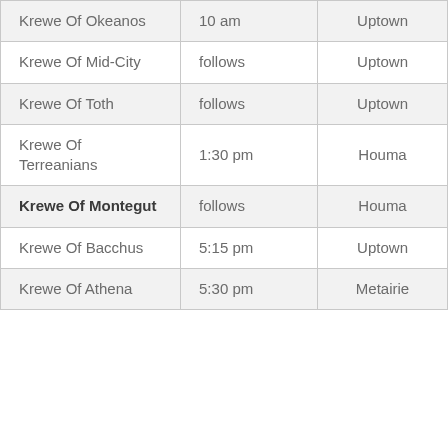| Krewe Of Okeanos | 10 am | Uptown |
| Krewe Of Mid-City | follows | Uptown |
| Krewe Of Toth | follows | Uptown |
| Krewe Of Terreanians | 1:30 pm | Houma |
| Krewe Of Montegut | follows | Houma |
| Krewe Of Bacchus | 5:15 pm | Uptown |
| Krewe Of Athena | 5:30 pm | Metairie |